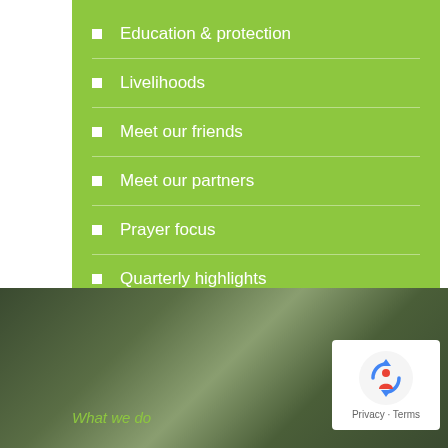Education & protection
Livelihoods
Meet our friends
Meet our partners
Prayer focus
Quarterly highlights
They talk about us
Training and staff care
[Figure (photo): Dark green blurred background photo with 'What we do' text and a reCAPTCHA privacy widget]
What we do
Privacy · Terms